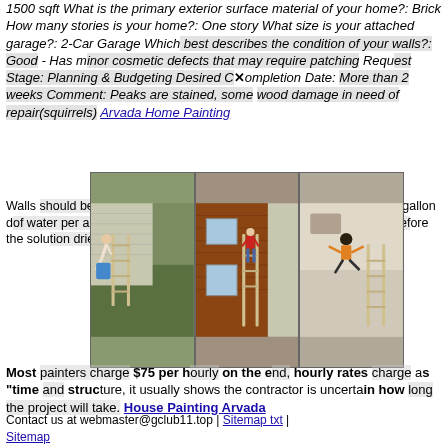1500 sqft What is the primary exterior surface material of your home?: Brick How many stories is your home?: One story What size is your attached garage?: 2-Car Garage Which best describes the condition of your walls?: Good - Has minor cosmetic defects that may require patching Request Stage: Planning & Budgeting Desired Completion Date: More than 2 weeks Comment: Peaks are stained, some wood damage in need of repair(squirrels) Arvada Home Painting
Walls should be wet down before getting scrubbed, then washed with a gallon of water per a concentrate (TSP) starting from the bottom before the solution... after a day or two.
Most painters charge $75 per hour on the end, hourly rates as "time structure, it usually shows the contractor is uncertain in how long the project will take. House Painting Arvada
[Figure (photo): Three side-by-side photos showing people on ladders doing house painting/exterior work]
Contact us at webmaster@gclub11.top | Sitemap txt | Sitemap